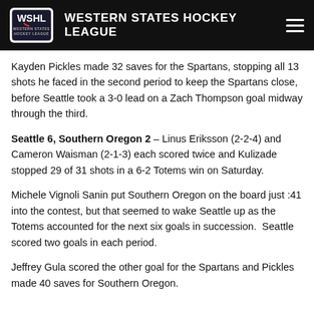WESTERN STATES HOCKEY LEAGUE
Kayden Pickles made 32 saves for the Spartans, stopping all 13 shots he faced in the second period to keep the Spartans close, before Seattle took a 3-0 lead on a Zach Thompson goal midway through the third.
Seattle 6, Southern Oregon 2 – Linus Eriksson (2-2-4) and Cameron Waisman (2-1-3) each scored twice and Kulizade stopped 29 of 31 shots in a 6-2 Totems win on Saturday.
Michele Vignoli Sanin put Southern Oregon on the board just :41 into the contest, but that seemed to wake Seattle up as the Totems accounted for the next six goals in succession.  Seattle scored two goals in each period.
Jeffrey Gula scored the other goal for the Spartans and Pickles made 40 saves for Southern Oregon.